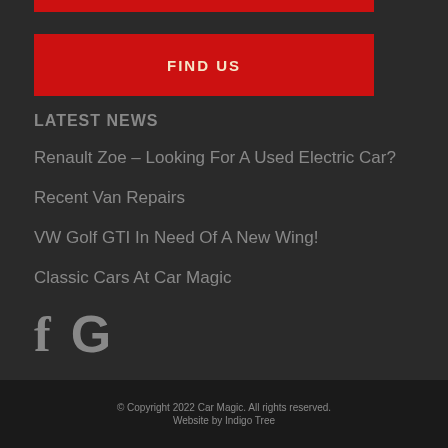[Figure (other): Red bar at top of widget]
[Figure (other): Red FIND US button]
LATEST NEWS
Renault Zoe – Looking For A Used Electric Car?
Recent Van Repairs
VW Golf GTI In Need Of A New Wing!
Classic Cars At Car Magic
[Figure (other): Social media icons: Facebook f and Google G]
© Copyright 2022 Car Magic. All rights reserved. Website by Indigo Tree